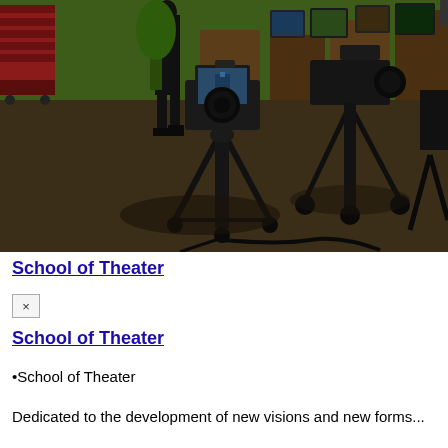[Figure (photo): Dark television studio or broadcast set with professional video cameras on tripods in the foreground. Multiple vintage television monitors and colorful set pieces visible in the background. A silhouetted person stands in the middle distance.]
School of Theater
[Figure (other): Small UI close button with an × symbol inside a box]
School of Theater
School of Theater
Dedicated to the development of new visions and new forms...